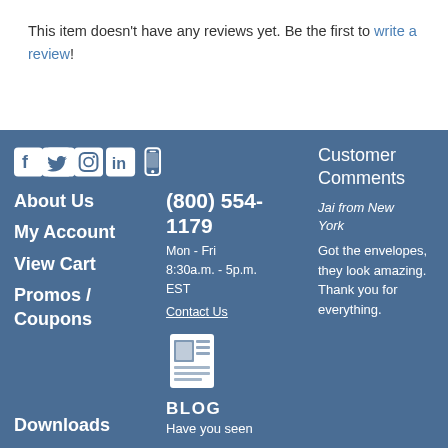This item doesn't have any reviews yet. Be the first to write a review!
Social icons: Facebook, Twitter, Instagram, LinkedIn, Mobile
(800) 554-1179
Mon - Fri
8:30a.m. - 5p.m. EST
Contact Us
About Us
My Account
View Cart
Promos / Coupons
Downloads
BLOG
Have you seen
Customer Comments
Jai from New York
Got the envelopes, they look amazing. Thank you for everything.